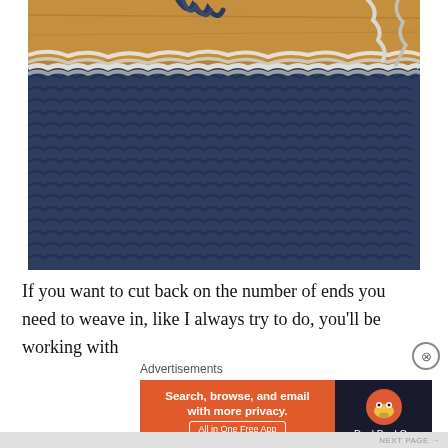[Figure (photo): Close-up photo of a crochet project in progress. A blue crochet hook is visible at the top left, with navy blue and white/cream yarn forming a crocheted fabric. The piece shows alternating stripes of navy and white crochet stitches on a wooden surface.]
If you want to cut back on the number of ends you need to weave in, like I always try to do, you'll be working with
Advertisements
[Figure (screenshot): DuckDuckGo advertisement banner. Left side is orange with white bold text: 'Search, browse, and email with more privacy.' and a white-bordered button 'All in One Free App'. Right side is dark navy with the DuckDuckGo duck logo and white text 'DuckDuckGo'.]